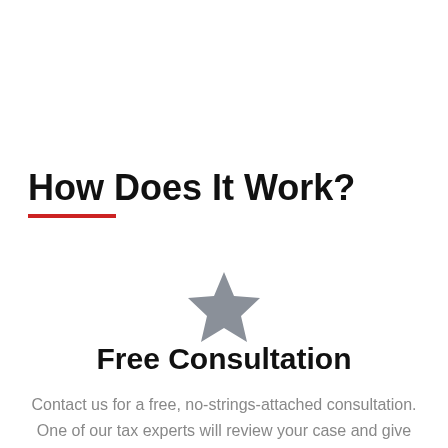How Does It Work?
[Figure (illustration): Gray filled star icon centered on the page]
Free Consultation
Contact us for a free, no-strings-attached consultation. One of our tax experts will review your case and give you a free quote.